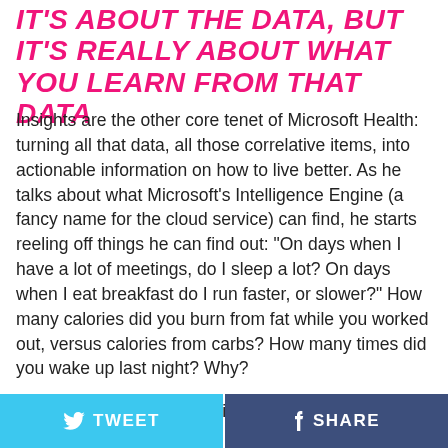IT'S ABOUT THE DATA, BUT IT'S REALLY ABOUT WHAT YOU LEARN FROM THAT DATA
Insights are the other core tenet of Microsoft Health: turning all that data, all those correlative items, into actionable information on how to live better. As he talks about what Microsoft's Intelligence Engine (a fancy name for the cloud service) can find, he starts reeling off things he can find out: "On days when I have a lot of meetings, do I sleep a lot? On days when I eat breakfast do I run faster, or slower?" How many calories did you burn from fat while you worked out, versus calories from carbs? How many times did you wake up last night? Why?
Microsoft Health is a machine that is always
TWEET   SHARE